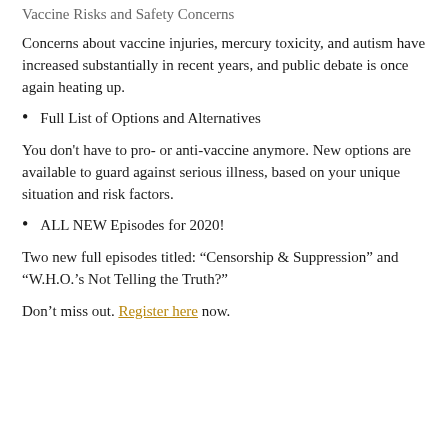Vaccine Risks and Safety Concerns
Concerns about vaccine injuries, mercury toxicity, and autism have increased substantially in recent years, and public debate is once again heating up.
Full List of Options and Alternatives
You don’t have to pro- or anti-vaccine anymore. New options are available to guard against serious illness, based on your unique situation and risk factors.
ALL NEW Episodes for 2020!
Two new full episodes titled: “Censorship & Suppression” and “W.H.O.’s Not Telling the Truth?”
Don’t miss out. Register here now.